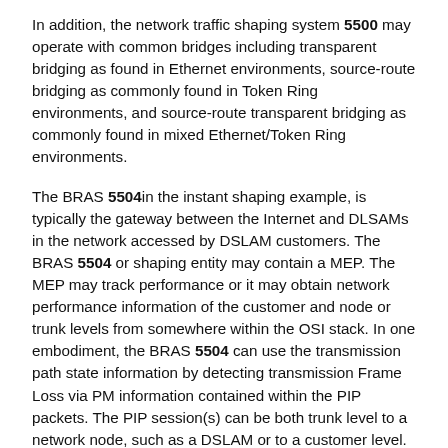In addition, the network traffic shaping system 5500 may operate with common bridges including transparent bridging as found in Ethernet environments, source-route bridging as commonly found in Token Ring environments, and source-route transparent bridging as commonly found in mixed Ethernet/Token Ring environments.
The BRAS 5504in the instant shaping example, is typically the gateway between the Internet and DLSAMs in the network accessed by DSLAM customers. The BRAS 5504 or shaping entity may contain a MEP. The MEP may track performance or it may obtain network performance information of the customer and node or trunk levels from somewhere within the OSI stack. In one embodiment, the BRAS 5504 can use the transmission path state information by detecting transmission Frame Loss via PM information contained within the PIP packets. The PIP session(s) can be both trunk level to a network node, such as a DSLAM or to a customer level. In both cases the trunk or line state PM engine detects that transmitted packets passing beyond the shapers are being dropped in the packet network 5502 or aggregation device going to the DSLAM 5506, the DSL modems, or customer CPE. In one